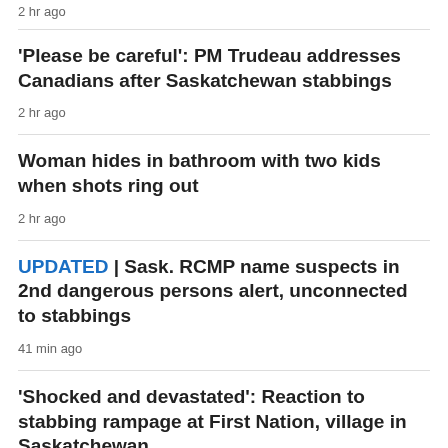2 hr ago
'Please be careful': PM Trudeau addresses Canadians after Saskatchewan stabbings
2 hr ago
Woman hides in bathroom with two kids when shots ring out
2 hr ago
UPDATED | Sask. RCMP name suspects in 2nd dangerous persons alert, unconnected to stabbings
41 min ago
'Shocked and devastated': Reaction to stabbing rampage at First Nation, village in Saskatchewan